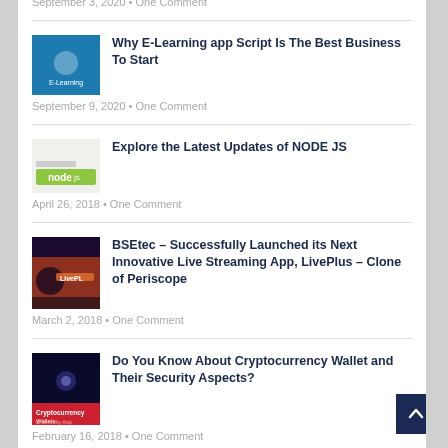September 3, 2020 • One Comment
[Figure (screenshot): Thumbnail image for social media blog post]
Why E-Learning app Script Is The Best Business To Start
September 9, 2020 • One Comment
[Figure (screenshot): Thumbnail image for Node.js blog post]
Explore the Latest Updates of NODE JS
April 26, 2018 • One Comment
[Figure (screenshot): Thumbnail image for LivePlus streaming app blog post]
BSEtec – Successfully Launched its Next Innovative Live Streaming App, LivePlus – Clone of Periscope
March 2, 2018 • One Comment
[Figure (screenshot): Thumbnail image for Cryptocurrency Wallet blog post]
Do You Know About Cryptocurrency Wallet and Their Security Aspects?
February 16, 2018 • One Comment